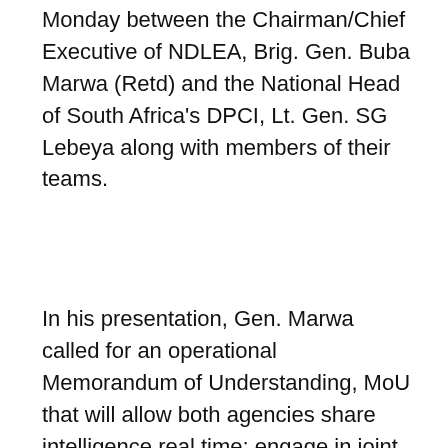Monday between the Chairman/Chief Executive of NDLEA, Brig. Gen. Buba Marwa (Retd) and the National Head of South Africa's DPCI, Lt. Gen. SG Lebeya along with members of their teams.
In his presentation, Gen. Marwa called for an operational Memorandum of Understanding, MoU that will allow both agencies share intelligence real time; engage in joint operations especially in the areas of controlled delivery; joint training and personnel exchange programmes among others.
"Drugs destroy our youths both in Nigeria and South Africa.